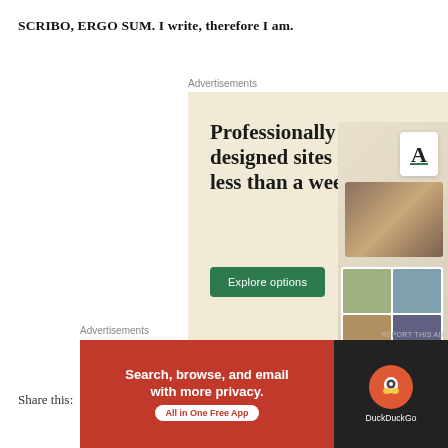SCRIBO, ERGO SUM. I write, therefore I am.
Advertisements
[Figure (illustration): WordPress advertisement banner: 'Professionally designed sites in less than a week' with Explore options button, WordPress logo, and website mockup images on beige background]
Share this:
Advertisements
[Figure (illustration): DuckDuckGo advertisement: 'Search, browse, and email with more privacy. All in One Free App' with orange/red background on left, DuckDuckGo logo on dark right panel]